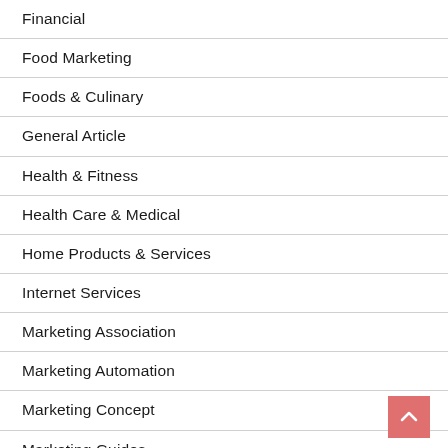Financial
Food Marketing
Foods & Culinary
General Article
Health & Fitness
Health Care & Medical
Home Products & Services
Internet Services
Marketing Association
Marketing Automation
Marketing Concept
Marketing Guides
Marketing Ideas